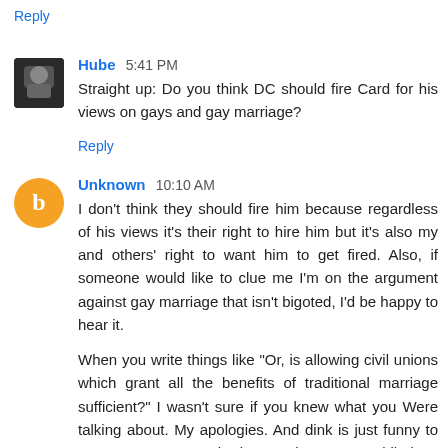Reply
Hube  5:41 PM
Straight up: Do you think DC should fire Card for his views on gays and gay marriage?
Reply
Unknown  10:10 AM
I don't think they should fire him because regardless of his views it's their right to hire him but it's also my and others' right to want him to get fired. Also, if someone would like to clue me I'm on the argument against gay marriage that isn't bigoted, I'd be happy to hear it.

When you write things like "Or, is allowing civil unions which grant all the benefits of traditional marriage sufficient?" I wasn't sure if you knew what you Were talking about. My apologies. And dink is just funny to say to someone on the internet because I'm hilarious and shit.